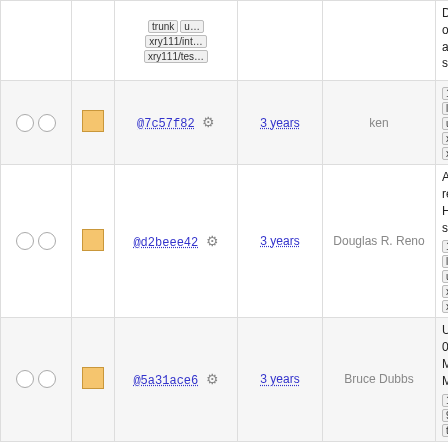|  |  | Hash | Age | Author | Description |
| --- | --- | --- | --- | --- | --- |
| ○ ○ | ■ | trunk  u...
xry111/int...
xry111/tes... |  |  |  |
| ○ ○ | ■ | @7c57f82 ⚙ | 3 years | ken | Document options fo and for lib svn-id: ...
11.0  11...
lazarus
upgraded...
xry111/int...
xry111/tes... |
| ○ ○ | ■ | @d2beee42 ⚙ | 3 years | Douglas R. Reno | Add a fix regarding Headers svn-id: ...
11.0  11...
lazarus
upgraded...
xry111/int...
xry111/tes... |
| ○ ○ | ■ | @5a31ace6 ⚙ | 3 years | Bruce Dubbs | Update to 0.15 (Pyt Modules) Mako-1.0...
10.1  11...
9.1  laz...
trunk |